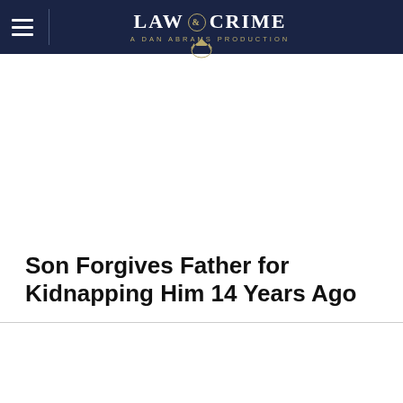[Figure (logo): Law & Crime - A Dan Abrams Production logo on dark navy header bar with hamburger menu icon]
Son Forgives Father for Kidnapping Him 14 Years Ago